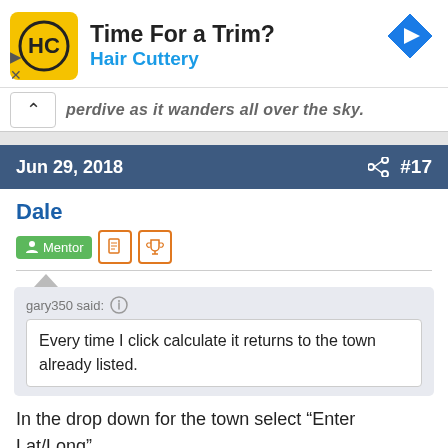[Figure (other): Hair Cuttery advertisement banner with logo, 'Time For a Trim?' heading, 'Hair Cuttery' subheading in blue, and a navigation arrow icon]
perdive as it wanders all over the sky.
Jun 29, 2018  #17
Dale
Mentor
gary350 said:
Every time I click calculate it returns to the town already listed.
In the drop down for the town select “Enter Lat/Long”